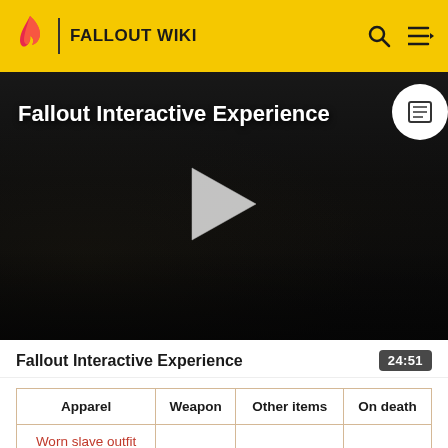FALLOUT WIKI
[Figure (screenshot): Dark post-apocalyptic video thumbnail with play button. Title reads 'Fallout Interactive Experience' overlaid on a dark scene with bare trees and dim lighting.]
Fallout Interactive Experience
24:51
| Apparel | Weapon | Other items | On death |
| --- | --- | --- | --- |
| Worn slave outfit |  |  |  |